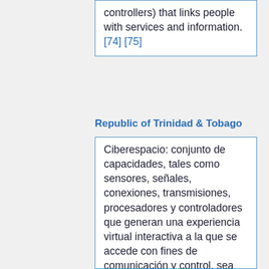controllers) that links people with services and information. [74] [75]
Republic of Trinidad & Tobago
Ciberespacio: conjunto de capacidades, tales como sensores, señales, conexiones, transmisiones, procesadores y controladores que generan una experiencia virtual interactiva a la que se accede con fines de comunicación y control, sea cual fuere la ubicación geográfica. El ciberespacio permite a la red interdependiente de